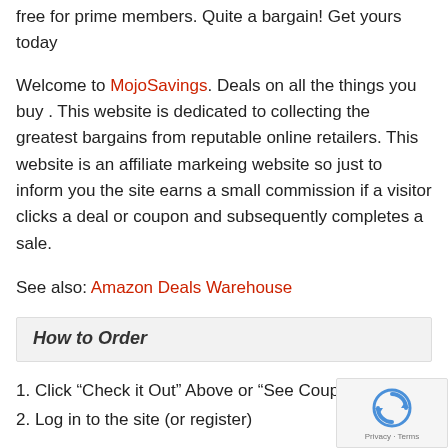free for prime members. Quite a bargain! Get yours today
Welcome to MojoSavings. Deals on all the things you buy . This website is dedicated to collecting the greatest bargains from reputable online retailers. This website is an affiliate markeing website so just to inform you the site earns a small commission if a visitor clicks a deal or coupon and subsequently completes a sale.
See also: Amazon Deals Warehouse
How to Order
1. Click “Check it Out” Above or “See Coupon”
2. Log in to the site (or register)